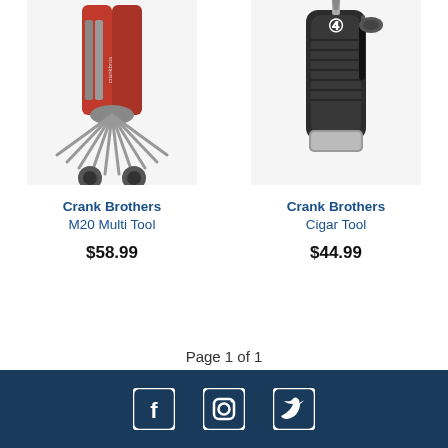[Figure (photo): Crank Brothers M20 Multi Tool product photo - red and silver multi-tool with multiple hex keys and tools fanned out]
Crank Brothers
M20 Multi Tool
$58.99
[Figure (photo): Crank Brothers Cigar Tool product photo - black cylindrical tool with screwdriver bits]
Crank Brothers
Cigar Tool
$44.99
Page 1 of 1
[Figure (other): Footer with dark blue background showing Facebook, Instagram, and Twitter social media icons]